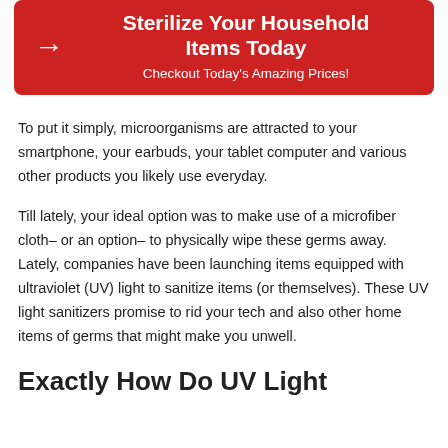[Figure (infographic): Red banner with arrow icon on left, bold white title 'Sterilize Your Household Items Today' and subtitle 'Checkout Today's Amazing Prices!']
To put it simply, microorganisms are attracted to your smartphone, your earbuds, your tablet computer and various other products you likely use everyday.
Till lately, your ideal option was to make use of a microfiber cloth– or an option– to physically wipe these germs away. Lately, companies have been launching items equipped with ultraviolet (UV) light to sanitize items (or themselves). These UV light sanitizers promise to rid your tech and also other home items of germs that might make you unwell.
Exactly How Do UV Light